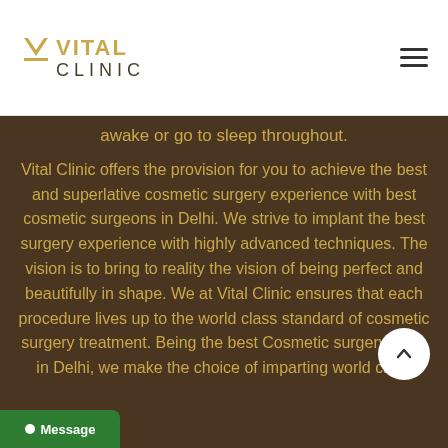VITAL CLINIC
awake or go to sleep throughout.
Vital Clinic offers the provision for you to achieve the best and superlative cosmetic surgery experience with best cosmetic surgeons in Delhi. We strive to implant the best surgery experience with highly advanced techniques. The vision is to bring to reality the vision of being perfect and beautifully in shape. We at Vital Clinic ensures that each procedure lives up to the world class standard of cosmetic surgery treatment. Being the best Cosmetic surgery clinic in Delhi, we make the choice of imparting world class